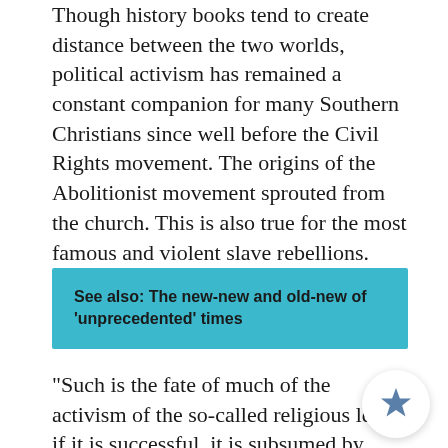Though history books tend to create distance between the two worlds, political activism has remained a constant companion for many Southern Christians since well before the Civil Rights movement. The origins of the Abolitionist movement sprouted from the church. This is also true for the most famous and violent slave rebellions.
See also: The new-new and old-new of 'unprecedented' times
"Such is the fate of much of the activism of the so-called religious left: if it is successful, it is subsumed by broader causes and coalitions; if it